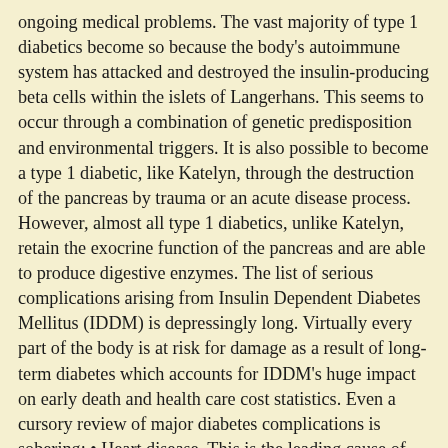ongoing medical problems. The vast majority of type 1 diabetics become so because the body's autoimmune system has attacked and destroyed the insulin-producing beta cells within the islets of Langerhans. This seems to occur through a combination of genetic predisposition and environmental triggers. It is also possible to become a type 1 diabetic, like Katelyn, through the destruction of the pancreas by trauma or an acute disease process. However, almost all type 1 diabetics, unlike Katelyn, retain the exocrine function of the pancreas and are able to produce digestive enzymes. The list of serious complications arising from Insulin Dependent Diabetes Mellitus (IDDM) is depressingly long. Virtually every part of the body is at risk for damage as a result of long-term diabetes which accounts for IDDM's huge impact on early death and health care cost statistics. Even a cursory review of major diabetes complications is sobering: • Heart disease. This is the leading cause of diabetes-related deaths. Adults with diabetes have heart disease-related death rates 2 to 4 times greater than nondiabetics; • Stroke. The risk for stroke is 2 to 4 times higher among diabetics; • High blood pressure. Almost 75 percent of adults with diabetes have elevated blood pressures